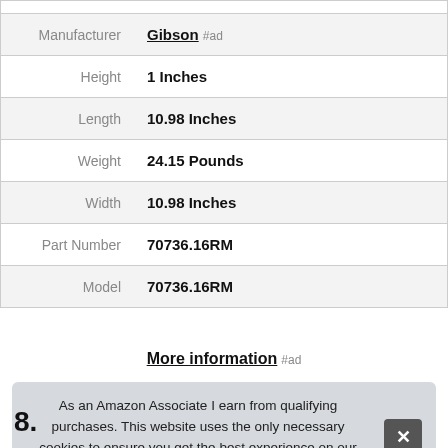| Attribute | Value |
| --- | --- |
| Manufacturer | Gibson #ad |
| Height | 1 Inches |
| Length | 10.98 Inches |
| Weight | 24.15 Pounds |
| Width | 10.98 Inches |
| Part Number | 70736.16RM |
| Model | 70736.16RM |
More information #ad
As an Amazon Associate I earn from qualifying purchases. This website uses the only necessary cookies to ensure you get the best experience on our website. More information